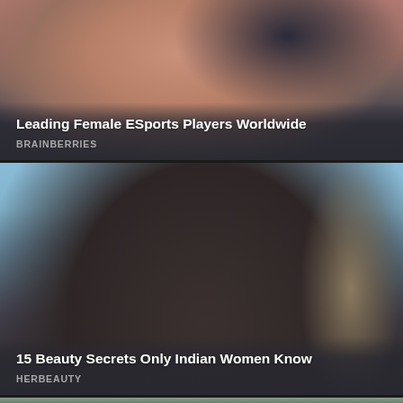[Figure (photo): Young woman with brownish-red hair and blue cap, partial view, top card]
Leading Female ESports Players Worldwide
BRAINBERRIES
[Figure (photo): Woman wearing black embroidered headscarf and necklace, side profile against blue sky, second card]
15 Beauty Secrets Only Indian Women Know
HERBEAUTY
[Figure (photo): Partial third card photo visible at bottom of page]